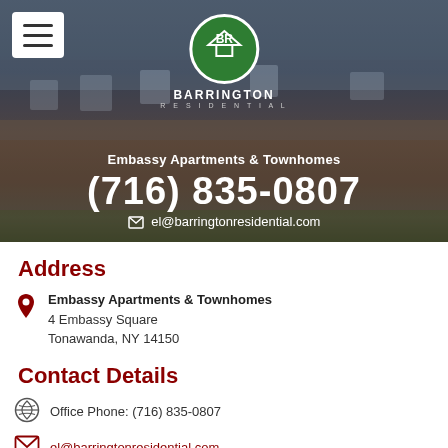[Figure (photo): Hero banner showing a brick apartment building with mansard roof dormers, overlaid with dark tint. Barrington Residential logo (BR in green circle) centered at top. Hamburger menu icon top-left. Text overlay shows property name, phone number, and email.]
Embassy Apartments & Townhomes
(716) 835-0807
el@barringtonresidential.com
Address
Embassy Apartments & Townhomes
4 Embassy Square
Tonawanda, NY 14150
Contact Details
Office Phone: (716) 835-0807
el@barringtonresidential.com